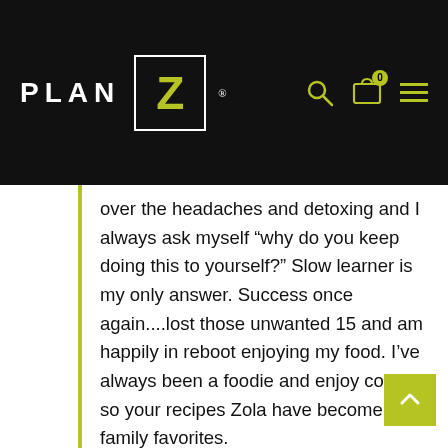[Figure (logo): Plan Z diet logo with white PLAN text and yellow-green Z in a white square box on black background, with search, cart (badge 0), and hamburger menu icons]
over the headaches and detoxing and I always ask myself “why do you keep doing this to yourself?” Slow learner is my only answer. Success once again....lost those unwanted 15 and am happily in reboot enjoying my food. I’ve always been a foodie and enjoy cooking so your recipes Zola have become family favorites.

Besides the recipes, education support, Tuesday chats and talking to you during stalls I’m finally heading to be a Z lifer. My